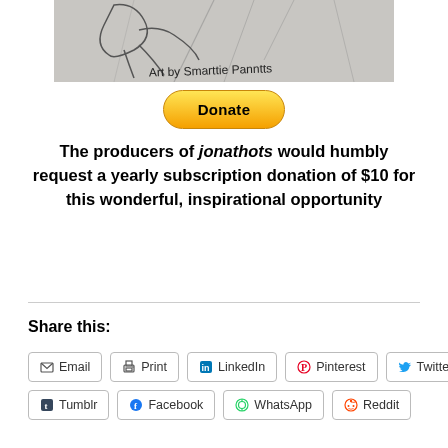[Figure (illustration): Pencil sketch drawing with text 'Art by Smarttie Panntts' handwritten at the bottom]
[Figure (other): PayPal Donate button, yellow rounded rectangle with bold text 'Donate']
The producers of jonathots would humbly request a yearly subscription donation of $10 for this wonderful, inspirational opportunity
Share this:
Email
Print
LinkedIn
Pinterest
Twitter
Tumblr
Facebook
WhatsApp
Reddit